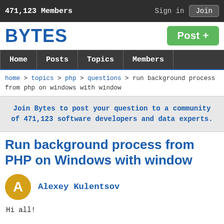471,123 Members   Sign in  Join
BYTES
[Figure (other): Post + green button]
Home  Posts  Topics  Members
home > topics > php > questions > run background process from php on windows with window
Join Bytes to post your question to a community of 471,123 software developers and data experts.
Run background process from PHP on Windows with window
Alexey Kulentsov
Hi all!